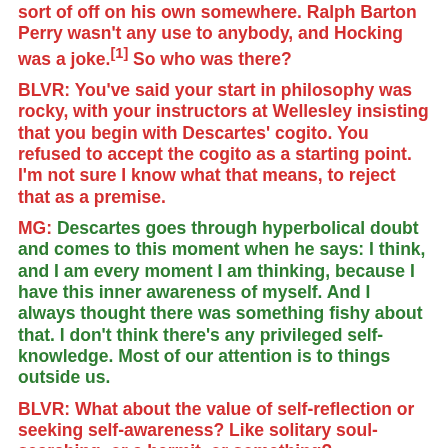sort of off on his own somewhere. Ralph Barton Perry wasn't any use to anybody, and Hocking was a joke.[1] So who was there?
BLVR: You've said your start in philosophy was rocky, with your instructors at Wellesley insisting that you begin with Descartes' cogito. You refused to accept the cogito as a starting point. I'm not sure I know what that means, to reject that as a premise.
MG: Descartes goes through hyperbolical doubt and comes to this moment when he says: I think, and I am every moment I am thinking, because I have this inner awareness of myself. And I always thought there was something fishy about that. I don't think there's any privileged self-knowledge. Most of our attention is to things outside us.
BLVR: What about the value of self-reflection or seeking self-awareness? Like solitary soul-searching, or a hermit, or something?
MG: